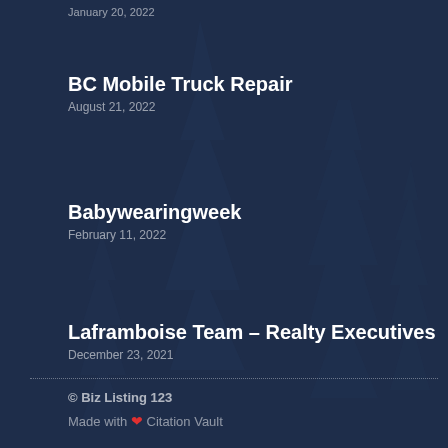January 20, 2022
BC Mobile Truck Repair
August 21, 2022
Babywearingweek
February 11, 2022
Laframboise Team – Realty Executives
December 23, 2021
© Biz Listing 123
Made with ❤ Citation Vault